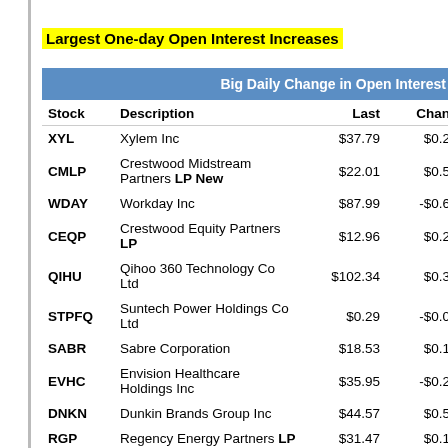Largest One-day Open Interest Increases
| Stock | Description | Last | Chan |
| --- | --- | --- | --- |
| XYL | Xylem Inc | $37.79 | $0.2 |
| CMLP | Crestwood Midstream Partners LP New | $22.01 | $0.5 |
| WDAY | Workday Inc | $87.99 | -$0.6 |
| CEQP | Crestwood Equity Partners LP | $12.96 | $0.2 |
| QIHU | Qihoo 360 Technology Co Ltd | $102.34 | $0.3 |
| STPFQ | Suntech Power Holdings Co Ltd | $0.29 | -$0.0 |
| SABR | Sabre Corporation | $18.53 | $0.1 |
| EVHC | Envision Healthcare Holdings Inc | $35.95 | -$0.2 |
| DNKN | Dunkin Brands Group Inc | $44.57 | $0.5 |
| RGP | Regency Energy Partners LP | $31.47 | $0.1 |
| AUQ | AuRico Gold Inc | $4.48 | $0.0 |
| SUNE | SunEdison Inc | $22.49 | $0.5 |
| KIM | Kimco Realty Corporation | $23.47 | $0.0 |
| COMM | CommScope Holding Company Inc | $25.14 | $0.1 |
| HFC | HollyFrontier Corporation | $50.44 | $0. |